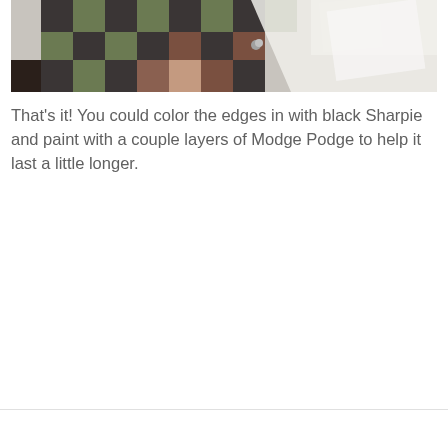[Figure (photo): A photo of a pixel-art style paper craft project laid on a white surface showing a checkered pattern of dark brown/charcoal, olive green, medium brown, and light pink squares arranged in a pixelated design, likely a Minecraft-style creeper or character face.]
That's it! You could color the edges in with black Sharpie and paint with a couple layers of Modge Podge to help it last a little longer.